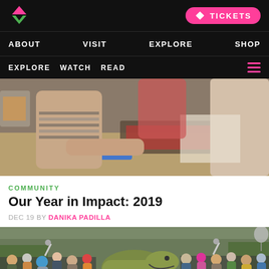[Figure (logo): Museum website logo - pink and green mountain/M shape on black background]
TICKETS
ABOUT   VISIT   EXPLORE   SHOP
EXPLORE   WATCH   READ
[Figure (photo): People working at a screen printing table, hands pressing down on a screen print frame]
COMMUNITY
Our Year in Impact: 2019
DEC 19 BY DANIKA PADILLA
[Figure (photo): Large crowd of people outdoors gathering around what appears to be a large dinosaur sculpture or animatronic, in an outdoor plaza setting]